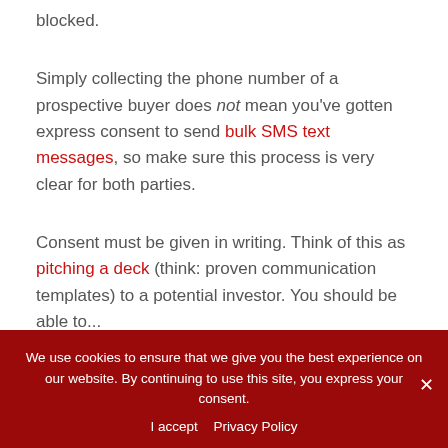blocked.
Simply collecting the phone number of a prospective buyer does not mean you've gotten express consent to send bulk SMS text messages, so make sure this process is very clear for both parties.
Consent must be given in writing. Think of this as pitching a deck (think: proven communication templates) to a potential investor. You should be able to...
We use cookies to ensure that we give you the best experience on our website. By continuing to use this site, you express your consent. I accept  Privacy Policy